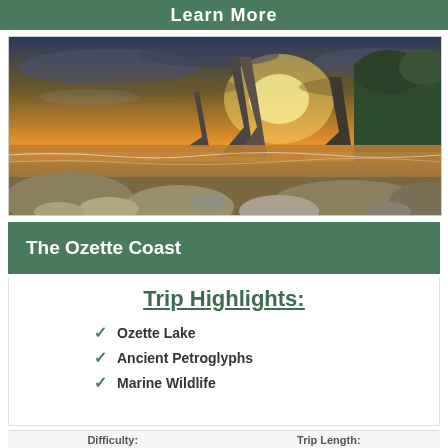Learn More
[Figure (photo): Dramatic coastal landscape at sunset with tall sea stack rock formations rising from the ocean, rocky beach in foreground, golden orange sky with dramatic clouds, forested cliffs to the right]
The Ozette Coast
Trip Highlights:
Ozette Lake
Ancient Petroglyphs
Marine Wildlife
Difficulty:  Trip Length: